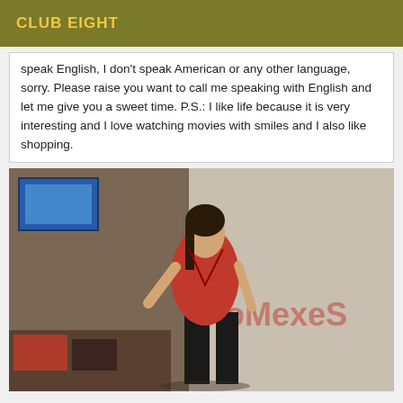CLUB EIGHT
speak English, I don't speak American or any other language, sorry. Please raise you want to call me speaking with English and let me give you a sweet time. P.S.: I like life because it is very interesting and I love watching movies with smiles and I also like shopping.
[Figure (photo): A person wearing a red swimsuit/bodysuit leaning against a wall in a room with computer equipment visible in the background. Text on wall reads 'oMexeS' (mirrored/reversed).]